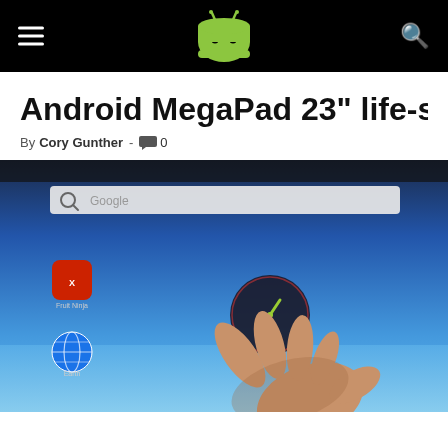AndroidAuthority logo header with hamburger menu and search icon
Android MegaPad 23" life-sized table
By Cory Gunther - 0
[Figure (screenshot): Android tablet home screen displayed on a large touchscreen, showing Fruit Ninja and Google Earth app icons, a clock widget, a hand touching the screen, and a Google search bar at the top.]